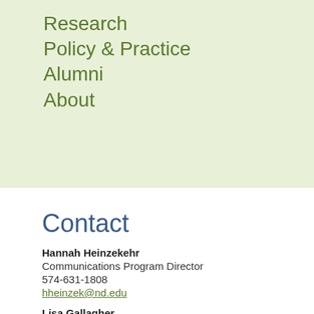Research
Policy & Practice
Alumni
About
Contact
Hannah Heinzekehr
Communications Program Director
574-631-1808
hheinzek@nd.edu
Lisa Gallagher
Events Program Manager